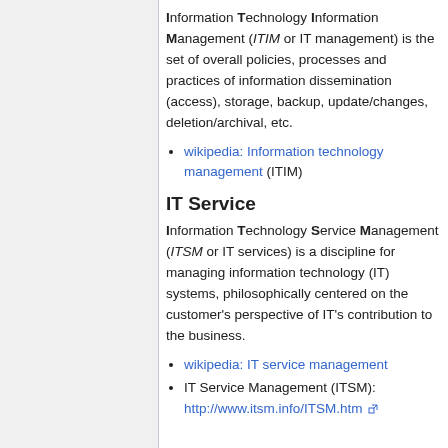Information Technology Information Management (ITIM or IT management) is the set of overall policies, processes and practices of information dissemination (access), storage, backup, update/changes, deletion/archival, etc.
wikipedia: Information technology management (ITIM)
IT Service
Information Technology Service Management (ITSM or IT services) is a discipline for managing information technology (IT) systems, philosophically centered on the customer's perspective of IT's contribution to the business.
wikipedia: IT service management
IT Service Management (ITSM): http://www.itsm.info/ITSM.htm